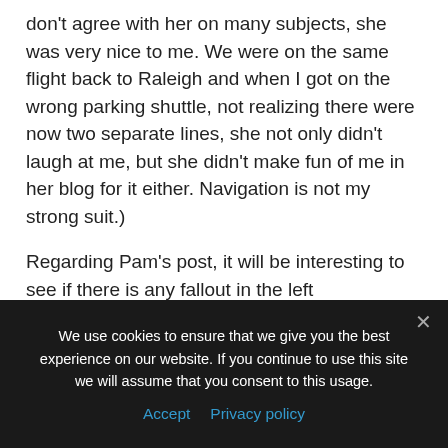don't agree with her on many subjects, she was very nice to me. We were on the same flight back to Raleigh and when I got on the wrong parking shuttle, not realizing there were now two separate lines, she not only didn't laugh at me, but she didn't make fun of me in her blog for it either. Navigation is not my strong suit.)
Regarding Pam's post, it will be interesting to see if there is any fallout in the left blogosphere over the firing.
Update III: Iowahawk has uncovered the Pandagon Papers.
We use cookies to ensure that we give you the best experience on our website. If you continue to use this site we will assume that you consent to this usage.